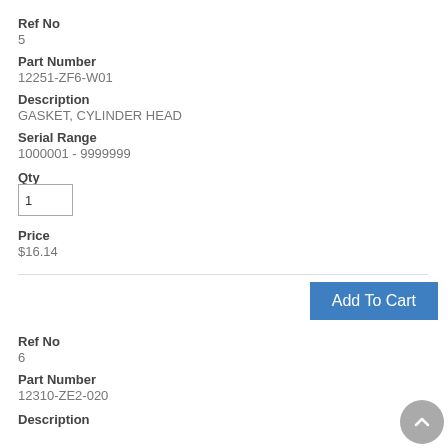Ref No
5
Part Number
12251-ZF6-W01
Description
GASKET, CYLINDER HEAD
Serial Range
1000001 - 9999999
Qty
Price
$16.14
Ref No
6
Part Number
12310-ZE2-020
Description